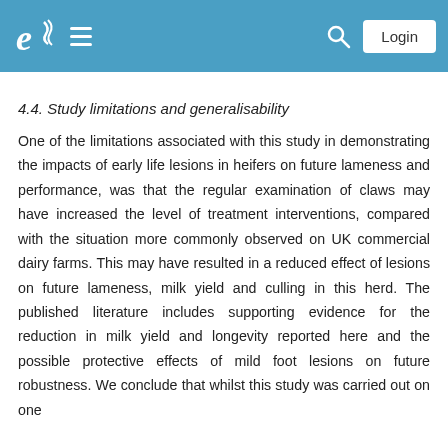e [logo] ≡ [search] Login
4.4. Study limitations and generalisability
One of the limitations associated with this study in demonstrating the impacts of early life lesions in heifers on future lameness and performance, was that the regular examination of claws may have increased the level of treatment interventions, compared with the situation more commonly observed on UK commercial dairy farms. This may have resulted in a reduced effect of lesions on future lameness, milk yield and culling in this herd. The published literature includes supporting evidence for the reduction in milk yield and longevity reported here and the possible protective effects of mild foot lesions on future robustness. We conclude that whilst this study was carried out on one